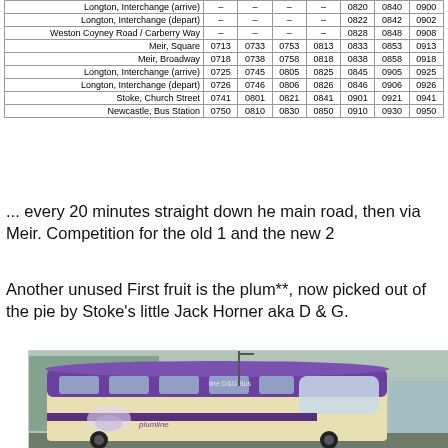| Stop | 0713 | 0733 | 0753 | 0813 | 0820/0822/0828/0833 | ... |
| --- | --- | --- | --- | --- | --- | --- |
| Longton, Interchange (arrive) | – | – | – | – | 0820 | 0840 | 0900 |
| Longton, Interchange (depart) | – | – | – | – | 0822 | 0842 | 0902 |
| Weston Coyney Road / Carberry Way | – | – | – | – | 0828 | 0848 | 0908 |
| Meir, Square | 0713 | 0733 | 0753 | 0813 | 0833 | 0853 | 0913 |
| Meir, Broadway | 0718 | 0738 | 0758 | 0818 | 0838 | 0858 | 0918 |
| Longton, Interchange (arrive) | 0725 | 0745 | 0805 | 0825 | 0845 | 0905 | 0925 |
| Longton, Interchange (depart) | 0726 | 0746 | 0806 | 0826 | 0846 | 0906 | 0926 |
| Stoke, Church Street | 0741 | 0801 | 0821 | 0841 | 0901 | 0921 | 0941 |
| Newcastle, Bus Station | 0750 | 0810 | 0830 | 0850 | 0910 | 0930 | 0950 |
... every 20 minutes straight down he main road, then via Meir. Competition for the old 1 and the new 2
Another unused First fruit is the plum**, now picked out of the pie by Stoke's little Jack Horner aka D & G.
[Figure (photo): A purple and cream bus branded 'plumline' and 'D&G Bus' parked at a bus depot or interchange, front three-quarter view.]